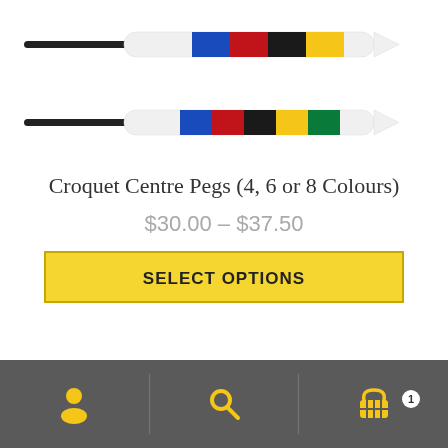[Figure (photo): Two croquet centre pegs shown side by side. Top peg has a black stake with white body and coloured bands: blue, red, black, yellow. Bottom peg has a black stake with white body and coloured bands: blue, red, black, yellow, green.]
Croquet Centre Pegs (4, 6 or 8 Colours)
$30.00 – $37.50
SELECT OPTIONS